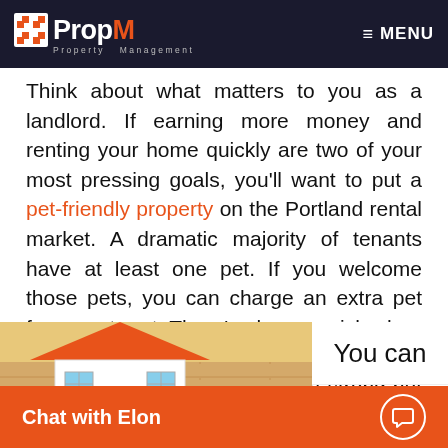PropM Property Management — MENU
Think about what matters to you as a landlord. If earning more money and renting your home quickly are two of your most pressing goals, you'll want to put a pet-friendly property on the Portland rental market. A dramatic majority of tenants have at least one pet. If you welcome those pets, you can charge an extra pet fee or pet rent. There's always a risk when you have animals in your home, but it's easy to mitigate that risk with a strong pet policy and a pet fee.
You can
[Figure (illustration): Illustration of a house model and chat widget overlay with 'Chat with Elon' button in orange]